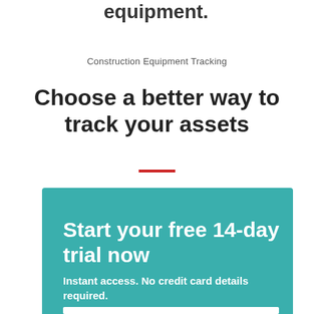equipment.
Construction Equipment Tracking
Choose a better way to track your assets
Start your free 14-day trial now
Instant access. No credit card details required.